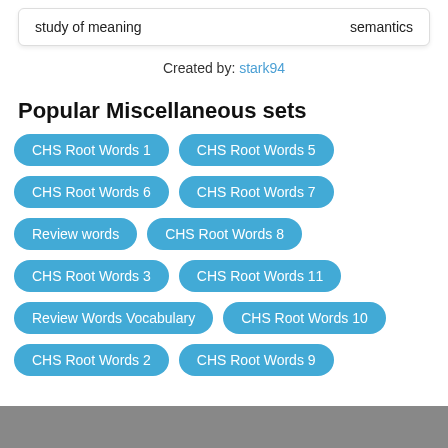| study of meaning | semantics |
Created by: stark94
Popular Miscellaneous sets
CHS Root Words 1
CHS Root Words 5
CHS Root Words 6
CHS Root Words 7
Review words
CHS Root Words 8
CHS Root Words 3
CHS Root Words 11
Review Words Vocabulary
CHS Root Words 10
CHS Root Words 2
CHS Root Words 9